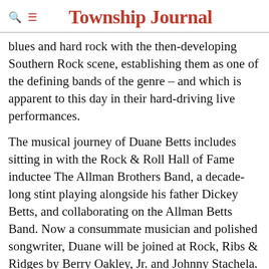Township Journal
blues and hard rock with the then-developing Southern Rock scene, establishing them as one of the defining bands of the genre – and which is apparent to this day in their hard-driving live performances.
The musical journey of Duane Betts includes sitting in with the Rock & Roll Hall of Fame inductee The Allman Brothers Band, a decade-long stint playing alongside his father Dickey Betts, and collaborating on the Allman Betts Band. Now a consummate musician and polished songwriter, Duane will be joined at Rock, Ribs & Ridges by Berry Oakley, Jr. and Johnny Stachela.
Since first taking the stage together with Creedence Clearwater Revisited in 2011, Dan McGuiness and Kurt Griffey of Revisiting Creedence fronted the legendary touring group and have performed nearly 1,000